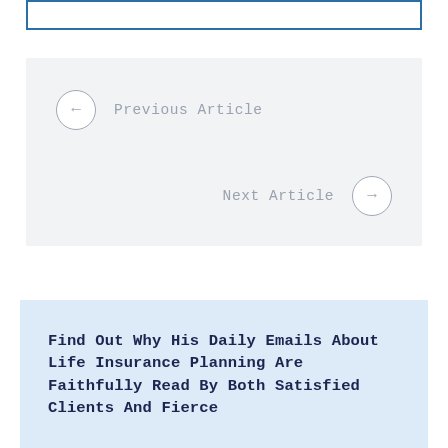[Figure (other): Empty bordered box at top of page with blue border]
← Previous Article
Next Article →
Find Out Why His Daily Emails About Life Insurance Planning Are Faithfully Read By Both Satisfied Clients And Fierce